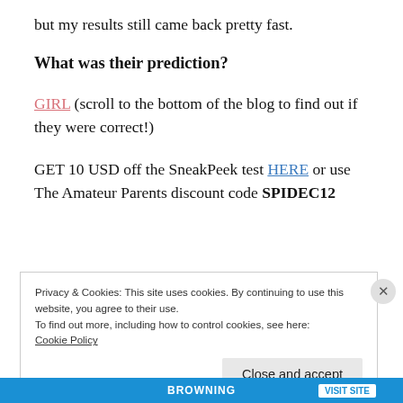but my results still came back pretty fast.
What was their prediction?
GIRL (scroll to the bottom of the blog to find out if they were correct!)
GET 10 USD off the SneakPeek test HERE or use The Amateur Parents discount code SPIDEC12
Privacy & Cookies: This site uses cookies. By continuing to use this website, you agree to their use.
To find out more, including how to control cookies, see here: Cookie Policy
Close and accept